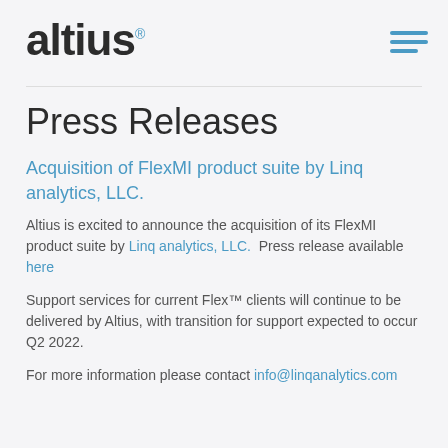altius
Press Releases
Acquisition of FlexMI product suite by Linq analytics, LLC.
Altius is excited to announce the acquisition of its FlexMI product suite by Linq analytics, LLC.  Press release available here
Support services for current Flex™ clients will continue to be delivered by Altius, with transition for support expected to occur Q2 2022.
For more information please contact info@linqanalytics.com